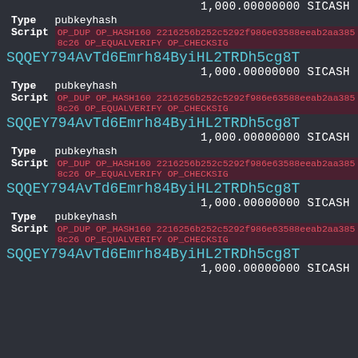1,000.00000000 SICASH
Type  pubkeyhash
Script  OP_DUP OP_HASH160 2216256b252c5292f986e63588eeab2aa3858c26 OP_EQUALVERIFY OP_CHECKSIG
SQQEY794AvTd6Emrh84ByiHL2TRDh5cg8T
1,000.00000000 SICASH
Type  pubkeyhash
Script  OP_DUP OP_HASH160 2216256b252c5292f986e63588eeab2aa3858c26 OP_EQUALVERIFY OP_CHECKSIG
SQQEY794AvTd6Emrh84ByiHL2TRDh5cg8T
1,000.00000000 SICASH
Type  pubkeyhash
Script  OP_DUP OP_HASH160 2216256b252c5292f986e63588eeab2aa3858c26 OP_EQUALVERIFY OP_CHECKSIG
SQQEY794AvTd6Emrh84ByiHL2TRDh5cg8T
1,000.00000000 SICASH
Type  pubkeyhash
Script  OP_DUP OP_HASH160 2216256b252c5292f986e63588eeab2aa3858c26 OP_EQUALVERIFY OP_CHECKSIG
SQQEY794AvTd6Emrh84ByiHL2TRDh5cg8T
1,000.00000000 SICASH